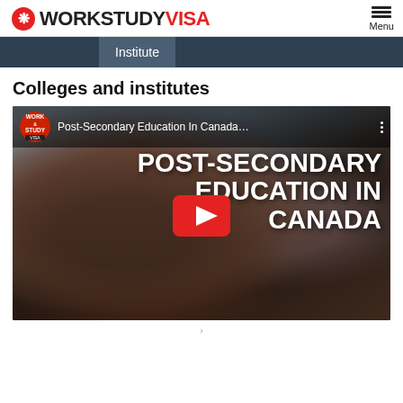WORKSTUDY VISA — Menu
Institute
Colleges and institutes
[Figure (screenshot): YouTube video thumbnail for 'Post-Secondary Education In Canada...' with a student in a maroon hoodie in the foreground and bold white text reading POST-SECONDARY EDUCATION IN CANADA overlaid on the image, with a red YouTube play button in the center.]